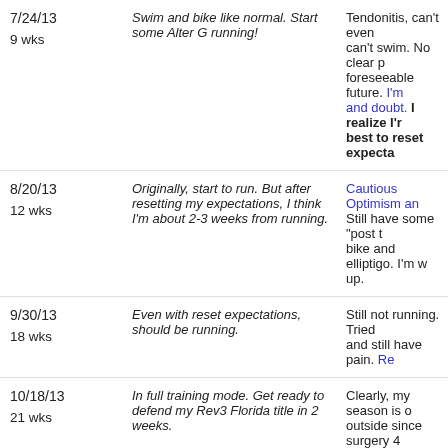| Date/Week | Plan | Actual |
| --- | --- | --- |
| 7/24/13
9 wks | Swim and bike like normal. Start some Alter G running! | Tendonitis, can't even... can't swim. No clear p... foreseeable future. I'm... and doubt. I realize I'r... best to reset expecta... |
| 8/20/13
12 wks | Originally, start to run. But after resetting my expectations, I think I'm about 2-3 weeks from running. | Cautious Optimism an... Still have some "post t... bike and elliptigo. I'm w... up. |
| 9/30/13
18 wks | Even with reset expectations, should be running. | Still not running. Tried ... and still have pain. Re... |
| 10/18/13
21 wks | In full training mode. Get ready to defend my Rev3 Florida title in 2 weeks. | Clearly, my season is o... outside since surgery 4... Underpants Run in Ko... |
| 10/30/13
23 wks | Racing | Separate my shoulder... starts hurting again a... blogging about it... |